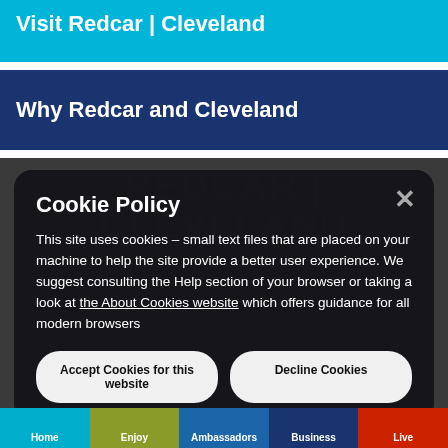Visit Redcar | Cleveland
Why Redcar and Cleveland
Cookie Policy
This site uses cookies – small text files that are placed on your machine to help the site provide a better user experience. We suggest consulting the Help section of your browser or taking a look at the About Cookies website which offers guidance for all modern browsers
Accept Cookies for this website
Decline Cookies
Home  Enjoy  Ambassadors  Business  Live